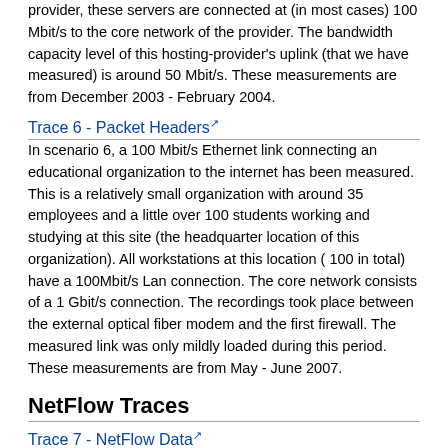provider, these servers are connected at (in most cases) 100 Mbit/s to the core network of the provider. The bandwidth capacity level of this hosting-provider's uplink (that we have measured) is around 50 Mbit/s. These measurements are from December 2003 - February 2004.
Trace 6 - Packet Headers
In scenario 6, a 100 Mbit/s Ethernet link connecting an educational organization to the internet has been measured. This is a relatively small organization with around 35 employees and a little over 100 students working and studying at this site (the headquarter location of this organization). All workstations at this location ( 100 in total) have a 100Mbit/s Lan connection. The core network consists of a 1 Gbit/s connection. The recordings took place between the external optical fiber modem and the first firewall. The measured link was only mildly loaded during this period. These measurements are from May - June 2007.
NetFlow Traces
Trace 7 - NetFlow Data
The Netflow version 5 data was recorded in the access router connecting a university to its ISP. It contains flow information about most of the incoming and outgoing university's traffic and some internal traffic as well. The traces